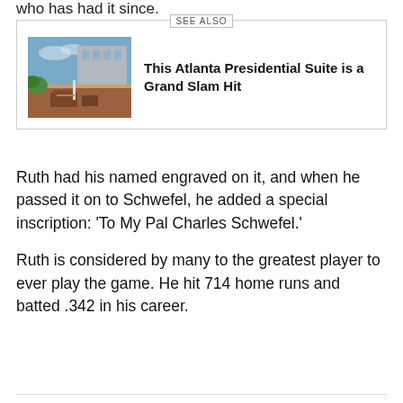who has had it since.
[Figure (photo): Photo of an Atlanta hotel presidential suite terrace/rooftop area with outdoor seating and greenery]
This Atlanta Presidential Suite is a Grand Slam Hit
Ruth had his named engraved on it, and when he passed it on to Schwefel, he added a special inscription: ‘To My Pal Charles Schwefel.’
Ruth is considered by many to the greatest player to ever play the game. He hit 714 home runs and batted .342 in his career.